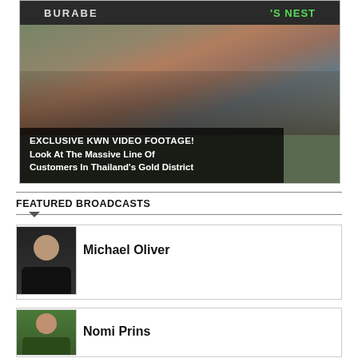[Figure (photo): Video footage thumbnail showing a massive crowd of customers lined up in Thailand's Gold District. Shop signs visible including 'BURAPE' and "'S NEST". People crowded on a street outside shops.]
EXCLUSIVE KWN VIDEO FOOTAGE! Look At The Massive Line Of Customers In Thailand's Gold District
FEATURED BROADCASTS
[Figure (photo): Headshot of Michael Oliver, an elderly man in a dark jacket.]
Michael Oliver
[Figure (photo): Headshot of Nomi Prins, a woman with dark hair.]
Nomi Prins